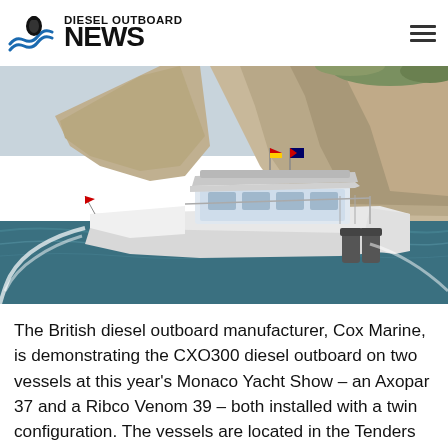DIESEL OUTBOARD NEWS
[Figure (photo): A white motorboat with twin outboard engines speeding through blue-green water near tall white chalk cliffs and rocky coastline. The boat has a cabin with windows and is flying flags.]
The British diesel outboard manufacturer, Cox Marine, is demonstrating the CXO300 diesel outboard on two vessels at this year's Monaco Yacht Show – an Axopar 37 and a Ribco Venom 39 – both installed with a twin configuration. The vessels are located in the Tenders